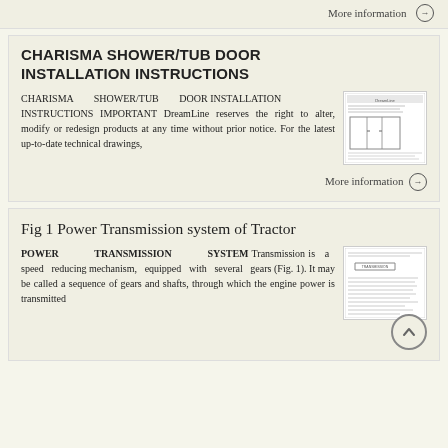More information →
CHARISMA SHOWER/TUB DOOR INSTALLATION INSTRUCTIONS
CHARISMA SHOWER/TUB DOOR INSTALLATION INSTRUCTIONS IMPORTANT DreamLine reserves the right to alter, modify or redesign products at any time without prior notice. For the latest up-to-date technical drawings,
[Figure (screenshot): Thumbnail image of CHARISMA SHOWER/TUB DOOR installation instructions document showing a diagram of a shower door]
More information →
Fig 1 Power Transmission system of Tractor
POWER TRANSMISSION SYSTEM Transmission is a speed reducing mechanism, equipped with several gears (Fig. 1). It may be called a sequence of gears and shafts, through which the engine power is transmitted
[Figure (screenshot): Thumbnail image of Power Transmission system document with text and diagrams]